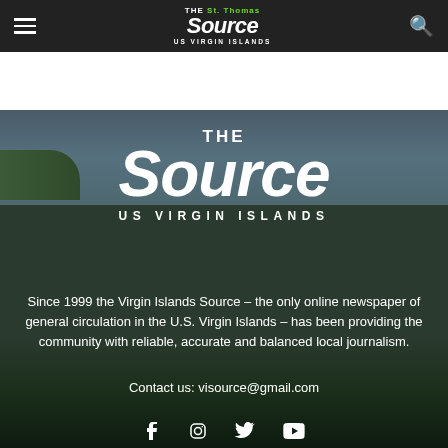The St. Thomas Source - US Virgin Islands
[Figure (illustration): Hero background with tropical island scenery - ocean, sky, and palm trees. White overlay logo reading THE Source US VIRGIN ISLANDS in large bold text.]
Since 1999 the Virgin Islands Source – the only online newspaper of general circulation in the U.S. Virgin Islands – has been providing the community with reliable, accurate and balanced local journalism.
Contact us: visource@gmail.com
[Figure (other): Social media icons: Facebook, Instagram, Twitter, YouTube]